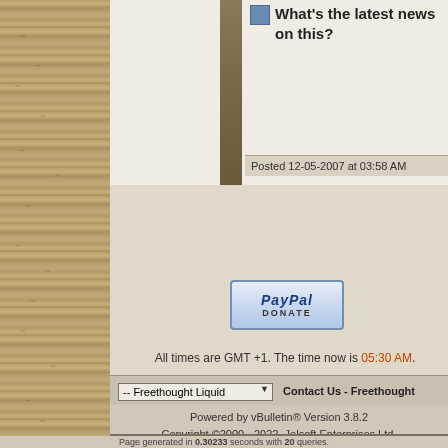What's the latest news on this?
Posted 12-05-2007 at 03:58 AM
[Figure (logo): PayPal Donate button]
All times are GMT +1. The time now is 05:30 AM.
-- Freethought Liquid
Contact Us - Freethought
Powered by vBulletin® Version 3.8.2
Copyright ©2000 - 2022, Jelsoft Enterprises Ltd.
DESIGN BY NVEXIO. COPYRIGHT ©2003-2004. MAINTAINED BY THE FREETHOUGHT
Page generated in 0.30233 seconds with 20 queries.